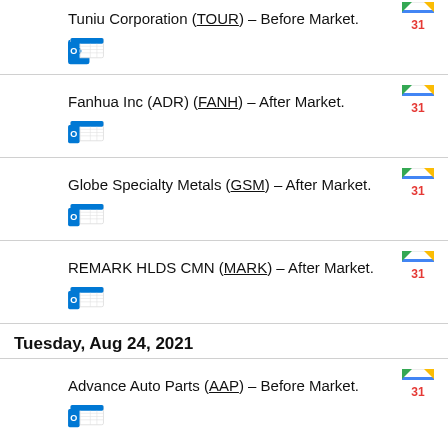Tuniu Corporation (TOUR) – Before Market.
Fanhua Inc (ADR) (FANH) – After Market.
Globe Specialty Metals (GSM) – After Market.
REMARK HLDS CMN (MARK) – After Market.
Tuesday, Aug 24, 2021
Advance Auto Parts (AAP) – Before Market.